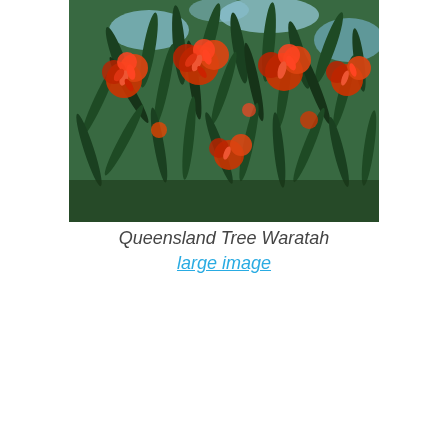[Figure (photo): A photograph of a Queensland Tree Waratah showing clusters of red-orange flowers among dark green elongated leaves against a blue sky background.]
Queensland Tree Waratah
large image